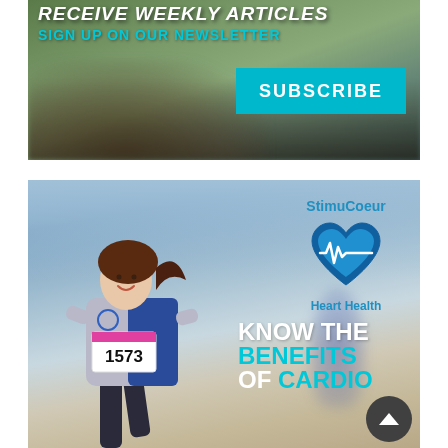[Figure (infographic): Top banner with blurred athlete photo background, text 'RECEIVE WEEKLY ARTICLES', 'SIGN UP ON OUR NEWSLETTER', and a cyan SUBSCRIBE button]
[Figure (infographic): Bottom banner with female marathon runner (bib #1573, Air Force Marathon), StimuCoeur Heart Health logo with cyan heart icon, text 'KNOW THE BENEFITS OF CARDIO', and a scroll-up button]